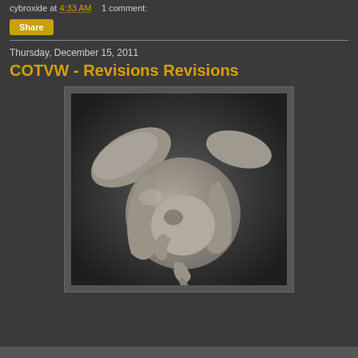cybroxide at 4:33 AM   1 comment:
Share
Thursday, December 15, 2011
COTVW - Revisions Revisions
[Figure (illustration): 3D sculpt of a stylized creature head with large ears/wings, shown in gray clay render style against a dark background]